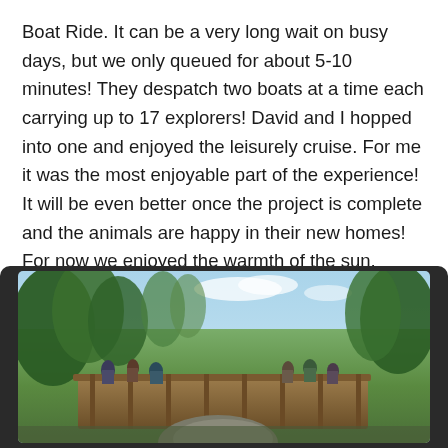Boat Ride. It can be a very long wait on busy days, but we only queued for about 5-10 minutes! They despatch two boats at a time each carrying up to 17 explorers! David and I hopped into one and enjoyed the leisurely cruise. For me it was the most enjoyable part of the experience! It will be even better once the project is complete and the animals are happy in their new homes! For now we enjoyed the warmth of the sun, drifted past the Visayan Warty Pigs and watched as the new enclosures and exhibits were being developed.
[Figure (photo): Outdoor photo showing people standing on a wooden bridge or walkway surrounded by lush green trees and vegetation, with a blue sky and clouds in the background. A large rock is visible in the foreground.]